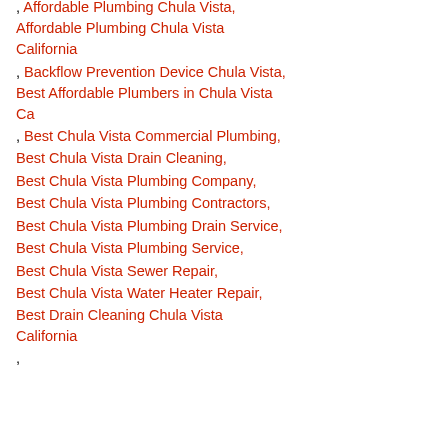, Affordable Plumbing Chula Vista,
Affordable Plumbing Chula Vista California
, Backflow Prevention Device Chula Vista,
Best Affordable Plumbers in Chula Vista Ca
, Best Chula Vista Commercial Plumbing,
Best Chula Vista Drain Cleaning,
Best Chula Vista Plumbing Company,
Best Chula Vista Plumbing Contractors,
Best Chula Vista Plumbing Drain Service,
Best Chula Vista Plumbing Service,
Best Chula Vista Sewer Repair,
Best Chula Vista Water Heater Repair,
Best Drain Cleaning Chula Vista California
,